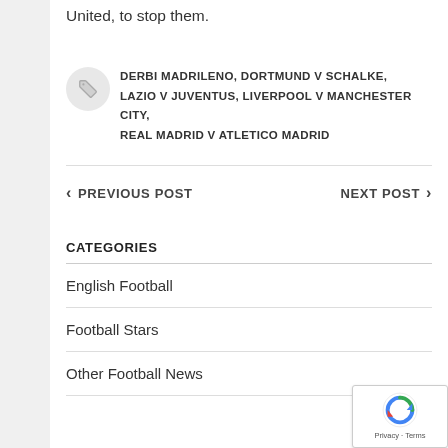United, to stop them.
DERBI MADRILENO, DORTMUND V SCHALKE, LAZIO V JUVENTUS, LIVERPOOL V MANCHESTER CITY, REAL MADRID V ATLETICO MADRID
PREVIOUS POST
NEXT POST
CATEGORIES
English Football
Football Stars
Other Football News